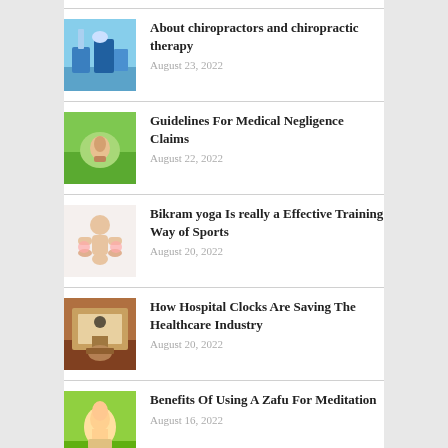About chiropractors and chiropractic therapy
August 23, 2022
Guidelines For Medical Negligence Claims
August 22, 2022
Bikram yoga Is really a Effective Training Way of Sports
August 20, 2022
How Hospital Clocks Are Saving The Healthcare Industry
August 20, 2022
Benefits Of Using A Zafu For Meditation
August 16, 2022
Things You Need To Know Before Your First Yoga Class